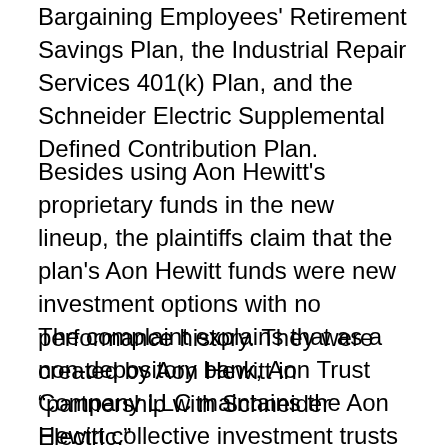Bargaining Employees' Retirement Savings Plan, the Industrial Repair Services 401(k) Plan, and the Schneider Electric Supplemental Defined Contribution Plan.
Besides using Aon Hewitt's proprietary funds in the new lineup, the plaintiffs claim that the plan's Aon Hewitt funds were new investment options with no performance history. They were created by Aon Hewitt in “partnership with Schneider Electric.”
The complaint explains that as a non-depository bank, Aon Trust Company LLC maintains the Aon Hewitt collective investment trusts and is the trustee of the funds. Both Aon Trust Company and Aon Hewitt are wholly owned subsidiaries of Aon Corporation. Aon Trust Company contributed to...